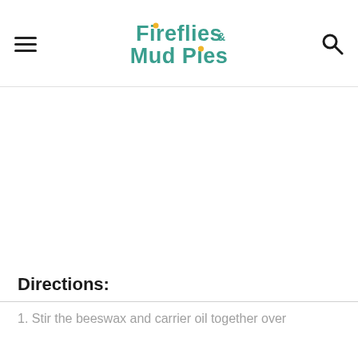Fireflies & Mud Pies
Directions:
1. Stir the beeswax and carrier oil together over